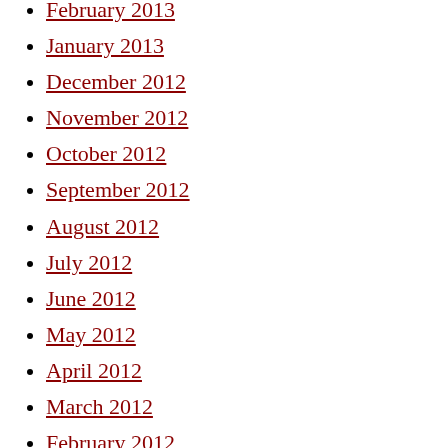February 2013
January 2013
December 2012
November 2012
October 2012
September 2012
August 2012
July 2012
June 2012
May 2012
April 2012
March 2012
February 2012
January 2012
December 2011
November 2011
October 2011
September 2011
August 2011
July 2011
June 2011
May 2011
April 2011
March 2011
February 2011